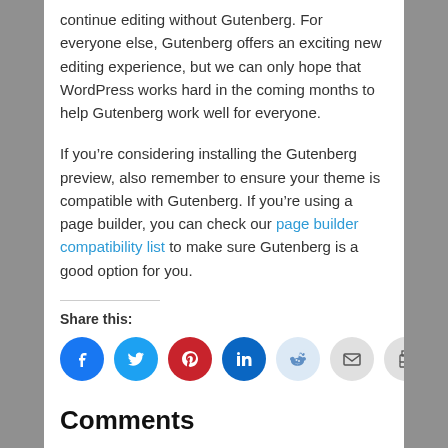continue editing without Gutenberg. For everyone else, Gutenberg offers an exciting new editing experience, but we can only hope that WordPress works hard in the coming months to help Gutenberg work well for everyone.
If you’re considering installing the Gutenberg preview, also remember to ensure your theme is compatible with Gutenberg. If you’re using a page builder, you can check our page builder compatibility list to make sure Gutenberg is a good option for you.
Share this:
[Figure (infographic): Row of 7 social share icon circles: Facebook (blue), Twitter (blue), Pinterest (red), LinkedIn (dark blue), Reddit (light blue), Email (grey), Print (grey)]
Comments